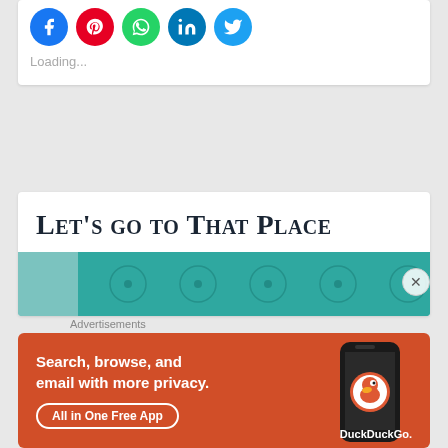[Figure (other): Social share icons: Facebook (blue), Pinterest (red), WhatsApp (green), LinkedIn (blue), Twitter (light blue), all circular]
Loading...
Let’s go to That Place
[Figure (photo): Teal/turquoise tufted upholstery or sofa background image]
Advertisements
[Figure (infographic): DuckDuckGo advertisement banner: orange background with text 'Search, browse, and email with more privacy. All in One Free App' and a phone image showing DuckDuckGo app]